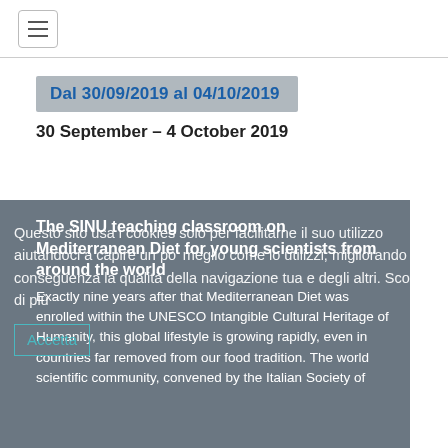Navigation menu
Dal 30/09/2019 al 04/10/2019
30 September – 4 October 2019
The SINU teaching classroom on Mediterranean Diet for young scientists from around the world
Exactly nine years after that Mediterranean Diet was enrolled within the UNESCO Intangible Cultural Heritage of Humanity, this global lifestyle is growing rapidly, even in countries far removed from our food tradition. The world scientific community, convened by the Italian Society of
Questo sito usa i cookies solo per facilitarne il suo utilizzo aiutandoci a capire un po' meglio come lo utilizzi, migliorando di conseguenza la qualità della navigazione tua e degli altri. Scopri di più
Accetta